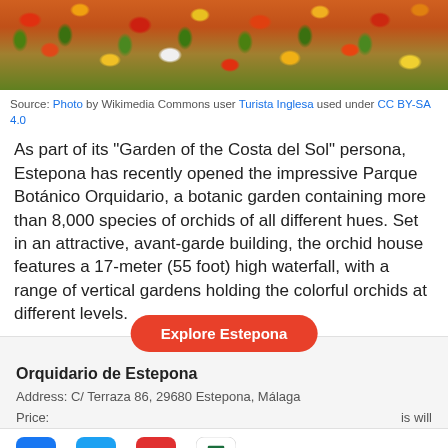[Figure (photo): Colorful flower garden with red, orange, yellow, and white flowers viewed from above, with green foliage.]
Source: Photo by Wikimedia Commons user Turista Inglesa used under CC BY-SA 4.0
As part of its “Garden of the Costa del Sol” persona, Estepona has recently opened the impressive Parque Botánico Orquidario, a botanic garden containing more than 8,000 species of orchids of all different hues. Set in an attractive, avant-garde building, the orchid house features a 17-meter (55 foot) high waterfall, with a range of vertical gardens holding the colorful orchids at different levels.
Orquidario de Estepona
Address: C/ Terraza 86, 29680 Estepona, Málaga
Price: … is will